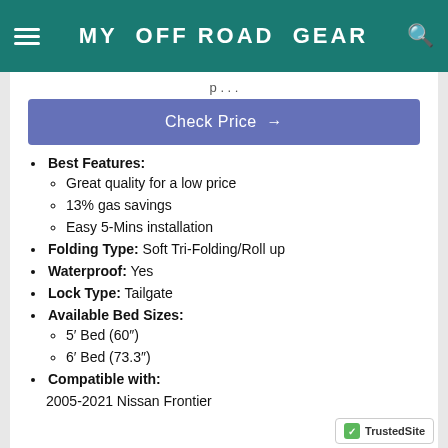MY OFF ROAD GEAR
Check Price →
Best Features:
Great quality for a low price
13% gas savings
Easy 5-Mins installation
Folding Type: Soft Tri-Folding/Roll up
Waterproof: Yes
Lock Type: Tailgate
Available Bed Sizes:
5′ Bed (60″)
6′ Bed (73.3″)
Compatible with:
2005-2021 Nissan Frontier
[Figure (logo): TrustedSite badge with green checkmark]